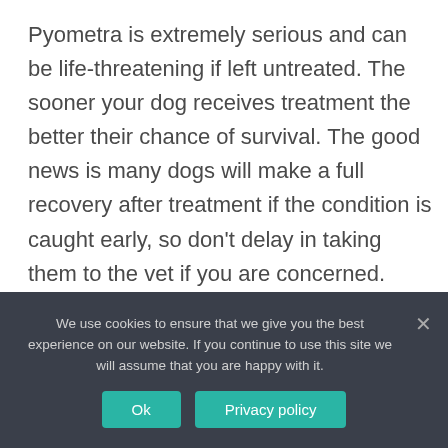Pyometra is extremely serious and can be life-threatening if left untreated. The sooner your dog receives treatment the better their chance of survival. The good news is many dogs will make a full recovery after treatment if the condition is caught early, so don't delay in taking them to the vet if you are concerned. How do you treat a pyo?
And there are many things you can do to help ensure she remains in the best health possible. A 13- to 15-year-old
We use cookies to ensure that we give you the best experience on our website. If you continue to use this site we will assume that you are happy with it.